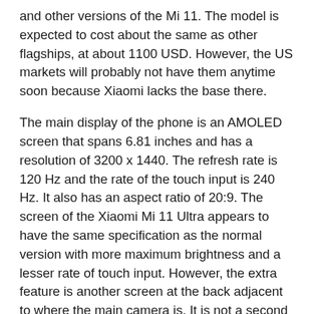and other versions of the Mi 11. The model is expected to cost about the same as other flagships, at about 1100 USD. However, the US markets will probably not have them anytime soon because Xiaomi lacks the base there.
The main display of the phone is an AMOLED screen that spans 6.81 inches and has a resolution of 3200 x 1440. The refresh rate is 120 Hz and the rate of the touch input is 240 Hz. It also has an aspect ratio of 20:9. The screen of the Xiaomi Mi 11 Ultra appears to have the same specification as the normal version with more maximum brightness and a lesser rate of touch input. However, the extra feature is another screen at the back adjacent to where the main camera is. It is not a second display and is primarily for reminders and notifications for when the Xiaomi Mi 11 Ultra is lying face-down.
The dimensions of the phone are...